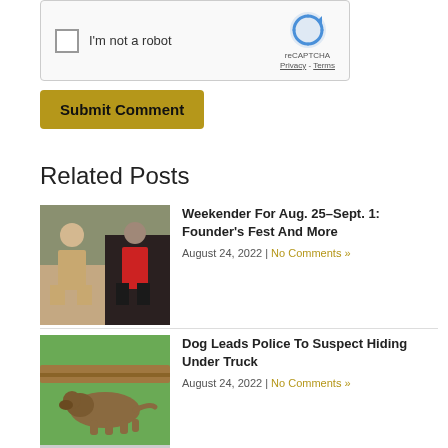[Figure (other): reCAPTCHA widget with checkbox 'I'm not a robot' and reCAPTCHA logo with Privacy and Terms links]
[Figure (other): Submit Comment button, golden/olive colored]
Related Posts
[Figure (photo): Two men standing, one in a floral shirt holding a hat, one in a red jacket]
Weekender For Aug. 25–Sept. 1: Founder's Fest And More
August 24, 2022 | No Comments »
[Figure (photo): A dog crawling under a wooden structure]
Dog Leads Police To Suspect Hiding Under Truck
August 24, 2022 | No Comments »